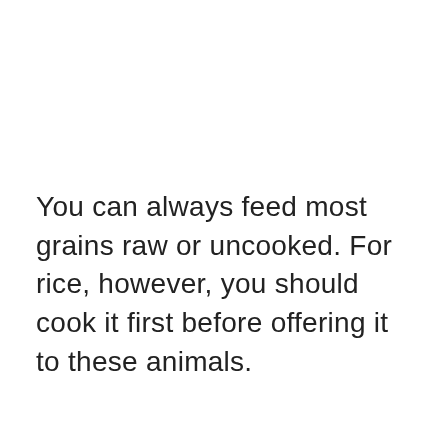You can always feed most grains raw or uncooked. For rice, however, you should cook it first before offering it to these animals.